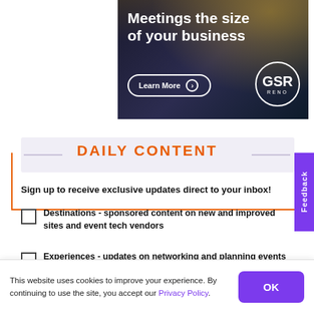[Figure (illustration): Advertisement banner for GSR Reno hotel/venue. Dark blue background with city lights. Large white bold text reads 'Meetings the size of your business'. A 'Learn More' button with arrow circle is shown. GSR Reno circular logo on the right.]
DAILY CONTENT
Sign up to receive exclusive updates direct to your inbox!
Destinations - sponsored content on new and improved sites and event tech vendors
Experiences - updates on networking and planning events
Feedback
This website uses cookies to improve your experience. By continuing to use the site, you accept our Privacy Policy.